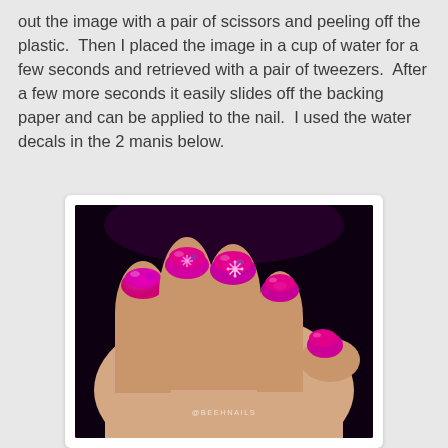out the image with a pair of scissors and peeling off the plastic.  Then I placed the image in a cup of water for a few seconds and retrieved with a pair of tweezers.  After a few more seconds it easily slides off the backing paper and can be applied to the nail.  I used the water decals in the 2 manis below.
[Figure (photo): Close-up photo of a hand showing nails painted with holographic/metallic hot pink/magenta nail polish with white snowflake/floral water decals applied. Watermark '@BEEHNAILS' visible at bottom center.]